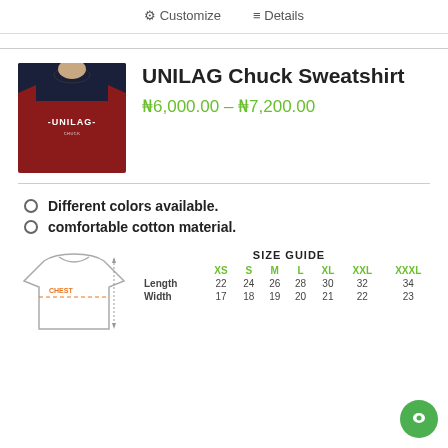⚙ Customize  ≡ Details
[Figure (photo): UNILAG Chuck Sweatshirt product photo — dark navy top with red body and white UNILAG text on chest]
UNILAG Chuck Sweatshirt
₦6,000.00 – ₦7,200.00
Different colors available.
comfortable cotton material.
[Figure (illustration): T-shirt diagram showing chest and length measurement indicators]
|  | XS | S | M | L | XL | XXL | XXXL |
| --- | --- | --- | --- | --- | --- | --- | --- |
| Length | 22 | 24 | 26 | 28 | 30 | 32 | 34 |
| Width | 17 | 18 | 19 | 20 | 21 | 22 | 23 |